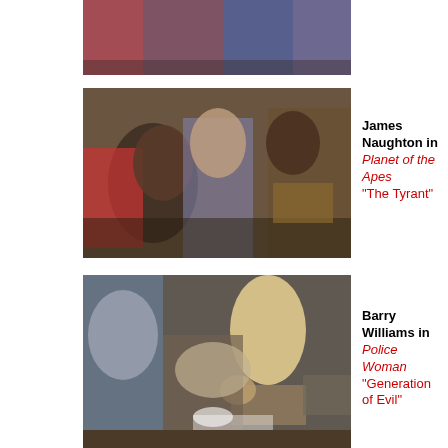[Figure (photo): Top partial photo showing colorful scene, cropped at top of page]
[Figure (photo): James Naughton in Planet of the Apes TV show episode 'The Tyrant' — scene with actors in ape costumes]
James Naughton in Planet of the Apes "The Tyrant"
[Figure (photo): Barry Williams in Police Woman episode 'Generation of Evil' — scene with person seated in chair with lamp in background]
Barry Williams in Police Woman "Generation of Evil"
[Figure (photo): Bottom partial photo, cropped at bottom of page]